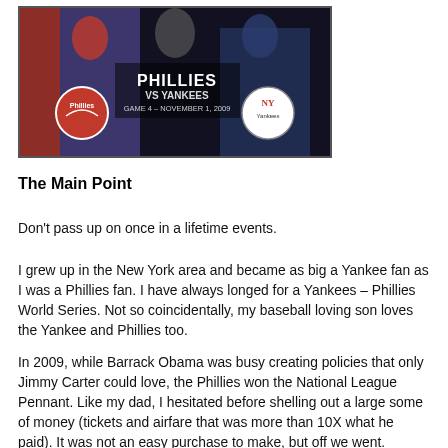[Figure (photo): Phillies vs Yankees World Series Game 4 - November 1, 2009 promotional image with players and team logos]
The Main Point
Don't pass up on once in a lifetime events.
I grew up in the New York area and became as big a Yankee fan as I was a Phillies fan. I have always longed for a Yankees – Phillies World Series. Not so coincidentally, my baseball loving son loves the Yankee and Phillies too.
In 2009, while Barrack Obama was busy creating policies that only Jimmy Carter could love, the Phillies won the National League Pennant. Like my dad, I hesitated before shelling out a large some of money (tickets and airfare that was more than 10X what he paid). It was not an easy purchase to make, but off we went.